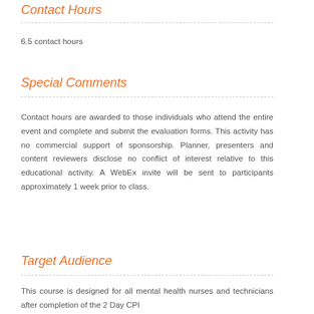Contact Hours
6.5 contact hours
Special Comments
Contact hours are awarded to those individuals who attend the entire event and complete and submit the evaluation forms. This activity has no commercial support of sponsorship. Planner, presenters and content reviewers disclose no conflict of interest relative to this educational activity. A WebEx invite will be sent to participants approximately 1 week prior to class.
Target Audience
This course is designed for all mental health nurses and technicians after completion of the 2 Day CPI